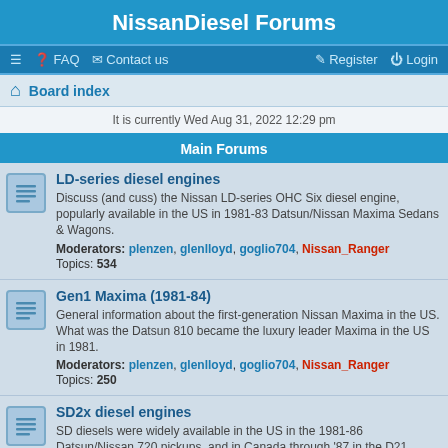NissanDiesel Forums
≡  FAQ  Contact us    Register  Login
Board index
It is currently Wed Aug 31, 2022 12:29 pm
Main Forums
LD-series diesel engines
Discuss (and cuss) the Nissan LD-series OHC Six diesel engine, popularly available in the US in 1981-83 Datsun/Nissan Maxima Sedans & Wagons.
Moderators: plenzen, glenlloyd, goglio704, Nissan_Ranger
Topics: 534
Gen1 Maxima (1981-84)
General information about the first-generation Nissan Maxima in the US. What was the Datsun 810 became the luxury leader Maxima in the US in 1981.
Moderators: plenzen, glenlloyd, goglio704, Nissan_Ranger
Topics: 250
SD2x diesel engines
SD diesels were widely available in the US in the 1981-86 Datsun/Nissan 720 pickups, and in Canada through '87 in the D21 pickup.
Moderators: plenzen, Nissan_Ranger
Topics: 518
SD-powered 720 PU support systems
Dealing with all subsystems specific to the diesel powered Datsun-Nissan 720 pickup trucks.
Moderators: plenzen, Nissan_Ranger